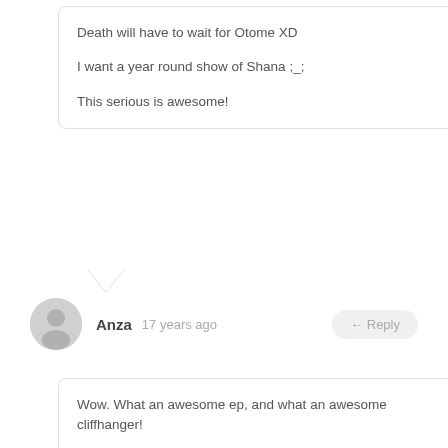Death will have to wait for Otome XD

I want a year round show of Shana ;_;

This serious is awesome!
Anza  17 years ago
← Reply
Wow. What an awesome ep, and what an awesome cliffhanger!

The last week has been treating us exceptionally well. Brilliant Otome ep, now a brilliant Shana ep. Amazing. Hell, I so want Shana19 right now.
Mentar  17 years ago
← Reply